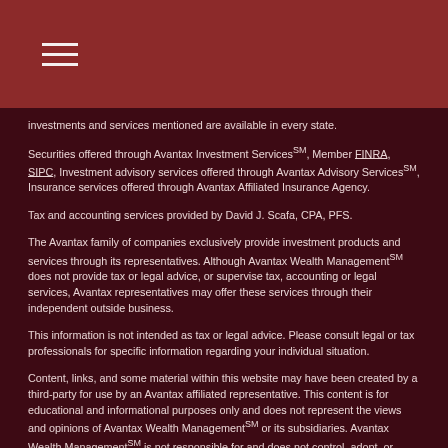investments and services mentioned are available in every state.
Securities offered through Avantax Investment ServicesSM, Member FINRA, SIPC, Investment advisory services offered through Avantax Advisory ServicesSM, Insurance services offered through Avantax Affiliated Insurance Agency.
Tax and accounting services provided by David J. Scafa, CPA, PFS.
The Avantax family of companies exclusively provide investment products and services through its representatives. Although Avantax Wealth ManagementSM does not provide tax or legal advice, or supervise tax, accounting or legal services, Avantax representatives may offer these services through their independent outside business.
This information is not intended as tax or legal advice. Please consult legal or tax professionals for specific information regarding your individual situation.
Content, links, and some material within this website may have been created by a third-party for use by an Avantax affiliated representative. This content is for educational and informational purposes only and does not represent the views and opinions of Avantax Wealth ManagementSM or its subsidiaries. Avantax Wealth ManagementSM is not responsible for and does not control, adopt, or endorse any content contained on any third-party website.